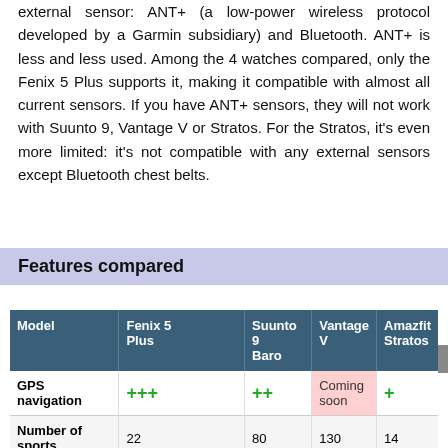Today, 2 standards are used to connect a GPS watch to an external sensor: ANT+ (a low-power wireless protocol developed by a Garmin subsidiary) and Bluetooth. ANT+ is less and less used. Among the 4 watches compared, only the Fenix 5 Plus supports it, making it compatible with almost all current sensors. If you have ANT+ sensors, they will not work with Suunto 9, Vantage V or Stratos. For the Stratos, it's even more limited: it's not compatible with any external sensors except Bluetooth chest belts.
Features compared
| Model | Fenix 5 Plus | Suunto 9 Baro | Vantage V | Amazfit Stratos |
| --- | --- | --- | --- | --- |
| GPS navigation | +++ | ++ | Coming soon | + |
| Number of sports | 22 | 80 | 130 | 14 |
| Triathlon | ● | ● | ● | ● |